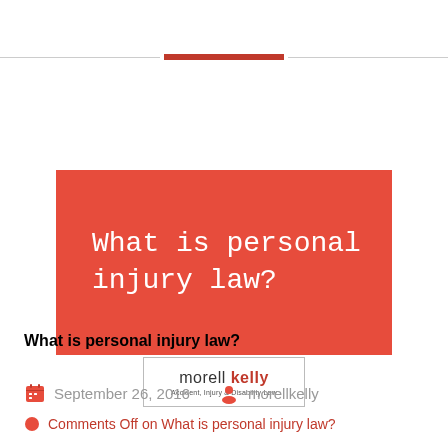[Figure (illustration): Red banner image with white serif/monospace text reading 'What is personal injury law?' on a red background, with the Morell Kelly law firm logo below it.]
What is personal injury law?
September 26, 2016   morellkelly
Comments Off on What is personal injury law?